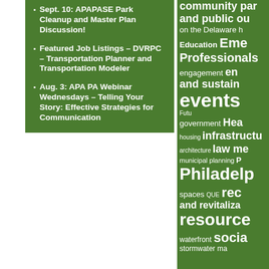Sept. 10: APAPASE Park Cleanup and Master Plan Discussion!
Featured Job Listings – DVRPC – Transportation Planner and Transportation Modeler
Aug. 3: APA PA Webinar Wednesdays – Telling Your Story: Effective Strategies for Communication
[Figure (infographic): Tag cloud on green background with planning and urban development keywords including: community participation, public outreach, on the Delaware, Education, Emerging Professionals, engagement, environment and sustainability, events, Future, government, Health, housing, infrastructure, architecture, law, media, municipal planning, Philadelphia, open spaces, que, redevelopment and revitalization, resources, waterfront, social, stormwater management]